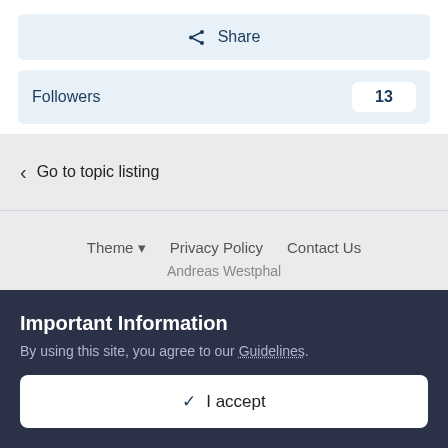Share
Followers 13
Go to topic listing
Theme ▾  Privacy Policy  Contact Us
Andreas Westphal
Important Information
By using this site, you agree to our Guidelines.
✔ I accept